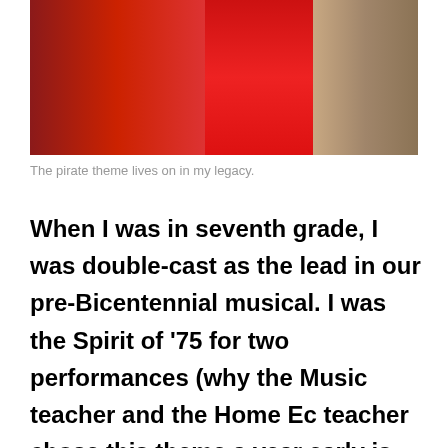[Figure (photo): Group photo showing people in costumes with red/patriotic colors against a dark background. Partial view cropped at top of page.]
The pirate theme lives on in my legacy.
When I was in seventh grade, I was double-cast as the lead in our pre-Bicentennial musical. I was the Spirit of '75 for two performances (why the Music teacher and the Home Ec teacher chose this theme a year early is anyone's guess). So was Kevin Bry. Yes, I played a